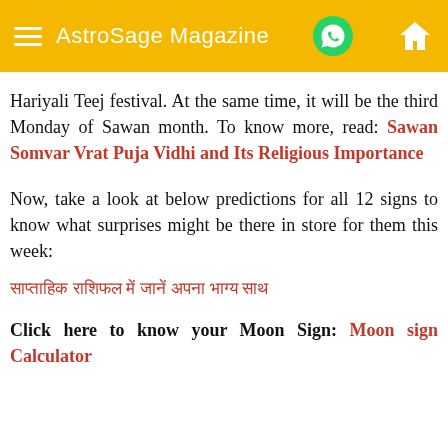AstroSage Magazine
Hariyali Teej festival. At the same time, it will be the third Monday of Sawan month. To know more, read: Sawan Somvar Vrat Puja Vidhi and Its Religious Importance
Now, take a look at below predictions for all 12 signs to know what surprises might be there in store for them this week:
साप्ताहिक राशिफल में जानें अपना भाग्य
Click here to know your Moon Sign: Moon sign Calculator